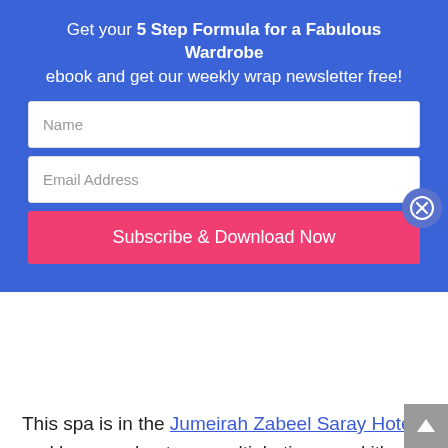Get your 5 Step Formula for a Fabulous Wardrobe ebook and get our weekly wrap newsletter free!
Name
Email Address
Subscribe & Download Now
This spa is in the Jumeirah Zabeel Saray Hotel and has won best spa multiple times and it's really like no other spa I've ever been to. From the gorgeous tiled swimming pool to the amazing spas, to the saunas, steam rooms and wait for it, snow room!  Spending time here was a treat!
Lunch at the Vida Downtown
[Figure (photo): Two women taking a selfie photo, partially visible at bottom of page]
[Figure (photo): A decorative doll or figurine with a drink, partially visible at bottom of page]